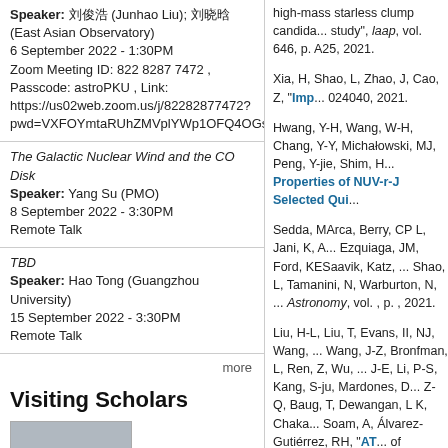Speaker: 刘俊浩 (Junhao Liu); 刘晓晗(East Asian Observatory)
6 September 2022 - 1:30PM
Zoom Meeting ID: 822 8287 7472 , Passcode: astroPKU , Link: https://us02web.zoom.us/j/82282877472?pwd=VXFOYmtaRUhZMVplYWp1OFQ4OGsvQT09
The Galactic Nuclear Wind and the CO Disk
Speaker: Yang Su (PMO)
8 September 2022 - 3:30PM
Remote Talk
TBD
Speaker: Hao Tong (Guangzhou University)
15 September 2022 - 3:30PM
Remote Talk
more
Visiting Scholars
Xia, H, Shao, L, Zhao, J, Cao, Z, "Imp... 024040, 2021.
Hwang, Y-H, Wang, W-H, Chang, Y-Y, Michałowski, MJ, Peng, Y-jie, Shim, H... Properties of NUV-r-J Selected Qui...
Sedda, MArca, Berry, CP L, Jani, K, A... Ezquioga, JM, Ford, KESaavik, Katz, ... Shao, L, Tamanini, N, Warburton, N, ... Astronomy, vol. , p. , 2021.
Liu, H-L, Liu, T, Evans, II, NJ, Wang,... Wang, J-Z, Bronfman, L, Ren, Z, Wu,... J-E, Li, P-S, Kang, S-ju, Mardones, D... Z-Q, Baug, T, Dewangan, L K, Chaka... Soam, A, Álvarez-Gutiérrez, RH, "AT... of candidate hot molecular cores a...
Liu, Y, Wang, R, Momjian, E, Bañado... Quasar Radio-loud Fraction at z le...
Kashino, D, Lilly, SJ, Silverman, JD, R... Sanders, DB, Zucca, E, "The 2175 W...